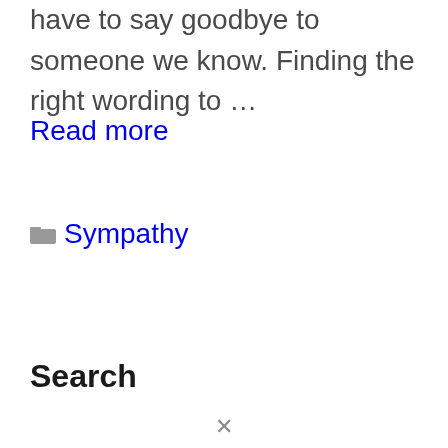have to say goodbye to someone we know. Finding the right wording to …
Read more
Sympathy
Search